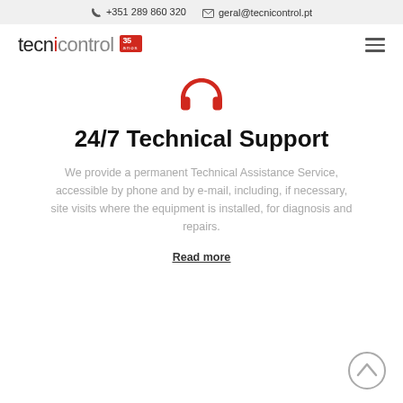+351 289 860 320   geral@tecnicontrol.pt
[Figure (logo): Tecnicontrol logo with 35 anos badge and hamburger menu icon]
[Figure (illustration): Red headphones icon]
24/7 Technical Support
We provide a permanent Technical Assistance Service, accessible by phone and by e-mail, including, if necessary, site visits where the equipment is installed, for diagnosis and repairs.
Read more